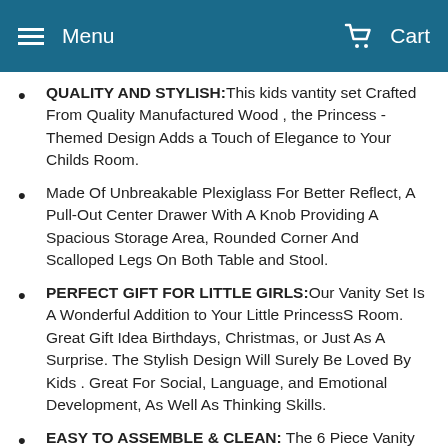Menu  Cart
QUALITY AND STYLISH:This kids vantity set Crafted From Quality Manufactured Wood , the Princess -Themed Design Adds a Touch of Elegance to Your Childs Room.
Made Of Unbreakable Plexiglass For Better Reflect, A Pull-Out Center Drawer With A Knob Providing A Spacious Storage Area, Rounded Corner And Scalloped Legs On Both Table and Stool.
PERFECT GIFT FOR LITTLE GIRLS:Our Vanity Set Is A Wonderful Addition to Your Little PrincessS Room. Great Gift Idea Birthdays, Christmas, or Just As A Surprise. The Stylish Design Will Surely Be Loved By Kids . Great For Social, Language, and Emotional Development, As Well As Thinking Skills.
EASY TO ASSEMBLE & CLEAN: The 6 Piece Vanity Set…